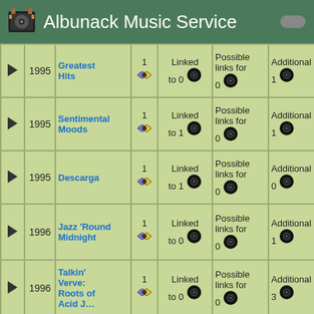Albunack Music Service
|  | Year | Title | Count | Linked | Possible links | Additional |
| --- | --- | --- | --- | --- | --- | --- |
| ► | 1995 | Greatest Hits | 1 | Linked to 0 | Possible links for 0 | Additional 1 |
| ► | 1995 | Sentimental Moods | 1 | Linked to 1 | Possible links for 0 | Additional 1 |
| ► | 1995 | Descarga | 1 | Linked to 1 | Possible links for 0 | Additional 0 |
| ► | 1996 | Jazz 'Round Midnight | 1 | Linked to 0 | Possible links for 0 | Additional 1 |
| ► | 1996 | Talkin' Verve: Roots of Acid Jazz | 1 | Linked to 0 | Possible links for 0 | Additional 3 |